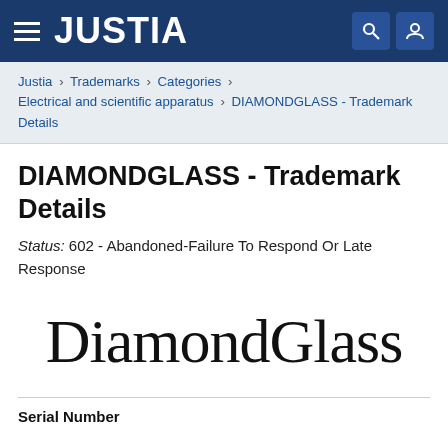JUSTIA
Justia › Trademarks › Categories › Electrical and scientific apparatus › DIAMONDGLASS - Trademark Details
DIAMONDGLASS - Trademark Details
Status: 602 - Abandoned-Failure To Respond Or Late Response
[Figure (logo): DiamondGlass trademark logo in large serif font]
Serial Number